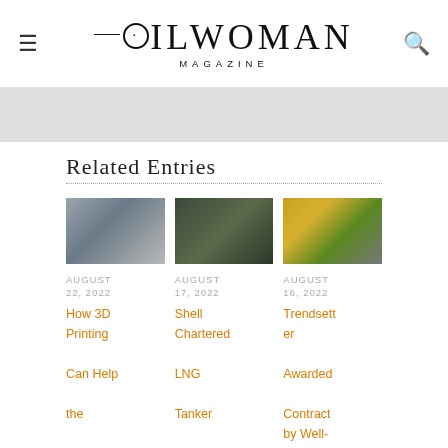OILWOMAN MAGAZINE
Related Entries
[Figure (photo): Close-up of 3D printing machinery on metal surface]
AUGUST 22, 2022
How 3D Printing Can Help the Supply Chain
[Figure (photo): Person working at a workbench, close-up view]
AUGUST 17, 2022
Shell Chartered LNG Tanker Fitted with
[Figure (photo): Industrial equipment in yellow/green industrial setting]
AUGUST 16, 2022
Trendsetter Awarded Contract by Well-Safe for